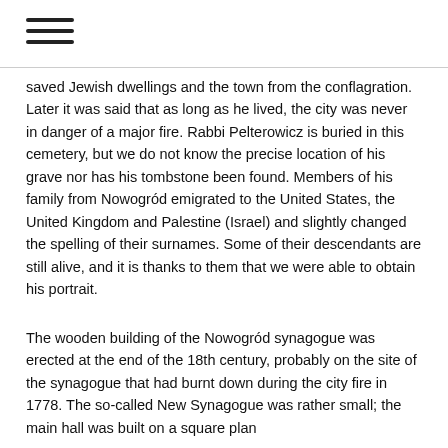saved Jewish dwellings and the town from the conflagration. Later it was said that as long as he lived, the city was never in danger of a major fire. Rabbi Pelterowicz is buried in this cemetery, but we do not know the precise location of his grave nor has his tombstone been found. Members of his family from Nowogród emigrated to the United States, the United Kingdom and Palestine (Israel) and slightly changed the spelling of their surnames. Some of their descendants are still alive, and it is thanks to them that we were able to obtain his portrait.
The wooden building of the Nowogród synagogue was erected at the end of the 18th century, probably on the site of the synagogue that had burnt down during the city fire in 1778. The so-called New Synagogue was rather small; the main hall was built on a square plan